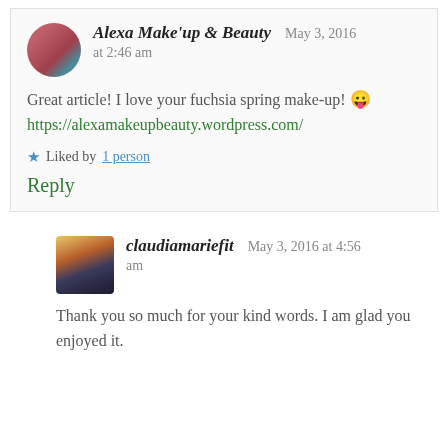Alexa Make'up & Beauty  May 3, 2016 at 2:46 am
Great article! I love your fuchsia spring make-up! 😛 https://alexamakeupbeauty.wordpress.com/
★ Liked by 1 person
Reply
claudiamariefit  May 3, 2016 at 4:56 am
Thank you so much for your kind words. I am glad you enjoyed it.